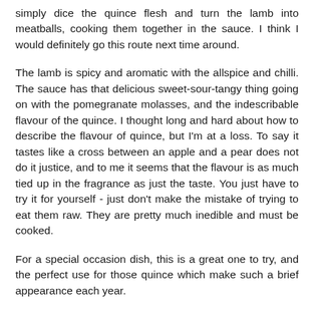simply dice the quince flesh and turn the lamb into meatballs, cooking them together in the sauce.  I think I would definitely go this route next time around.
The lamb is spicy and aromatic with the allspice and chilli.  The sauce has that delicious sweet-sour-tangy thing going on with the pomegranate molasses, and the indescribable flavour of the quince.  I thought long and hard about how to describe the flavour of quince, but I'm at a loss.  To say it tastes like a cross between an apple and a pear does not do it justice, and to me it seems that the flavour is as much tied up in the fragrance as just the taste.   You just have to try it for yourself - just don't make the mistake of trying to eat them raw.  They are pretty much inedible and must be cooked.
For a special occasion dish, this is a great one to try, and the perfect use for those quince which make such a brief appearance each year.
A couple of notes about the recipe.  Firstly, the recipe calls for simmering the stuffed quince on the stove-top - I think that in future I would bake them in the oven.  Secondly, the